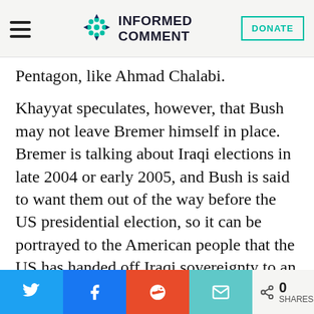INFORMED COMMENT
Pentagon, like Ahmad Chalabi.
Khayyat speculates, however, that Bush may not leave Bremer himself in place. Bremer is talking about Iraqi elections in late 2004 or early 2005, and Bush is said to want them out of the way before the US presidential election, so it can be portrayed to the American people that the US has handed off Iraqi sovereignty to an elected government. If Bremer looks like he can't get the job
0 SHARES